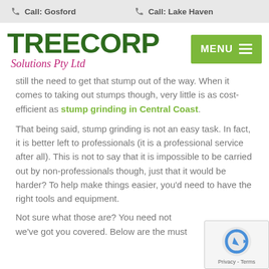Call: Gosford   Call: Lake Haven
TREECORP Solutions Pty Ltd
still the need to get that stump out of the way. When it comes to taking out stumps though, very little is as cost-efficient as stump grinding in Central Coast.
That being said, stump grinding is not an easy task. In fact, it is better left to professionals (it is a professional service after all). This is not to say that it is impossible to be carried out by non-professionals though, just that it would be harder? To help make things easier, you'd need to have the right tools and equipment.
Not sure what those are? You need not we've got you covered. Below are the must